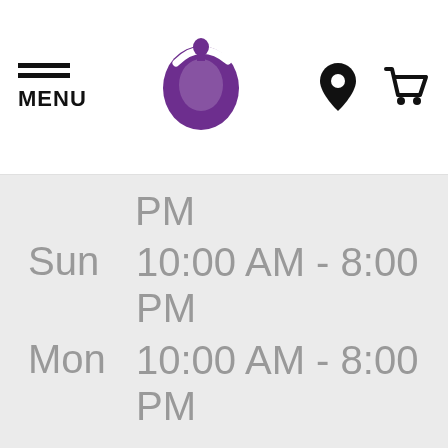[Figure (logo): Taco Bell website header with hamburger menu icon labeled MENU, Taco Bell bell logo in purple, location pin icon, and shopping cart icon]
PM
Sun   10:00 AM - 8:00 PM
Mon   10:00 AM - 8:00 PM
VISIT OR ORDER